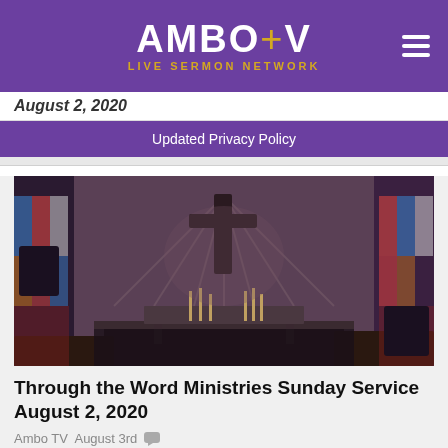AMBO tv LIVE SERMON NETWORK
August 2, 2020
Updated Privacy Policy
[Figure (photo): Interior of a church sanctuary showing an altar with a large wooden cross on the wall, candles on the altar table, pews, and stained glass windows on the sides with colorful light.]
Through the Word Ministries Sunday Service August 2, 2020
Ambo TV August 3rd